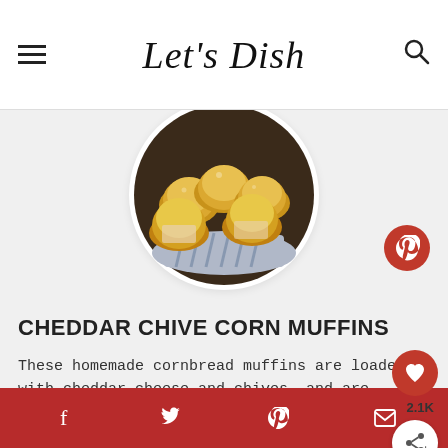Let's Dish
[Figure (photo): Circular cropped photo of homemade cheddar chive corn muffins in a basket with a blue striped cloth]
CHEDDAR CHIVE CORN MUFFINS
These homemade cornbread muffins are loaded with cheddar cheese and chives, and are wonderful for breakfast, lunch, dinner and snacking!
f  twitter  p  mail